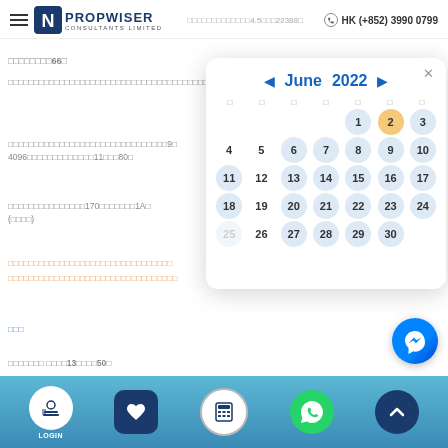Propwiser Consultants Limited — HK (+852) 3990 0799
□□□□□□□□66□
□□□□□□□□□□□□□□□□□□□□□□□□□□□□□□□□□□□□□□□□□□□□□□□□□□□□303□□□□□□□□□□□□□41□□□□□□□18.5□□
□□□□□□□□□□□□□□□□□□□□□□□□□□□□□□□9□□4096□□□□□□□□□□□□□11□□□80□
□□□□□□□□□□□□□□□170□□□□□□□1A□ (□□□□)
□□□□□□□□□□□□□□□□□□□□□□□□□□□□□□□□
□□□□□□□□□□□□□□□□□□□□□□□□□□□□□□□□□
[Figure (screenshot): Calendar popup showing June 2022 with date 2 highlighted in orange/gold, other dates shown with light blue circle backgrounds. Navigation arrows on left and right. Close button top right.]
□□□  □□□□13□□□□50□
[Figure (infographic): Bottom navigation bar with LOGIN button, favorites/bookmark icon, calculator icon, WhatsApp icon, and scroll-up arrow. Blue gradient background.]